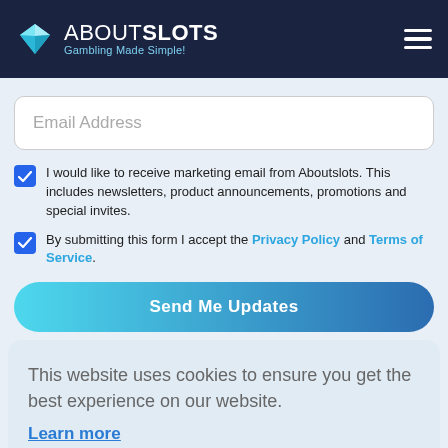ABOUTSLOTS Gambling Made Simple!
Email Address
I would like to receive marketing email from Aboutslots. This includes newsletters, product announcements, promotions and special invites.
By submitting this form I accept the Privacy Policy and Terms of Service.
Send Me Updates
This website uses cookies to ensure you get the best experience on our website.
Learn more
Got it!